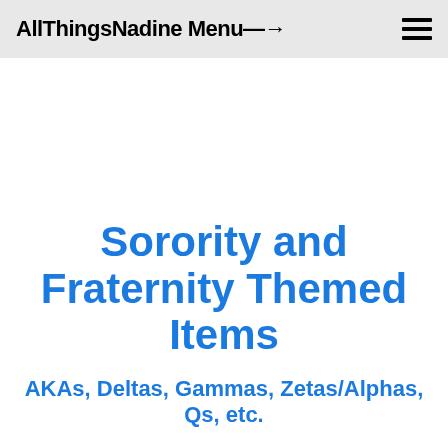AllThingsNadine Menu—>
Sorority and Fraternity Themed Items
AKAs, Deltas, Gammas, Zetas/Alphas, Qs, etc.